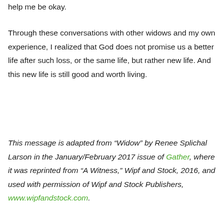help me be okay.
Through these conversations with other widows and my own experience, I realized that God does not promise us a better life after such loss, or the same life, but rather new life. And this new life is still good and worth living.
This message is adapted from “Widow” by Renee Splichal Larson in the January/February 2017 issue of Gather, where it was reprinted from “A Witness,” Wipf and Stock, 2016, and used with permission of Wipf and Stock Publishers, www.wipfandstock.com.